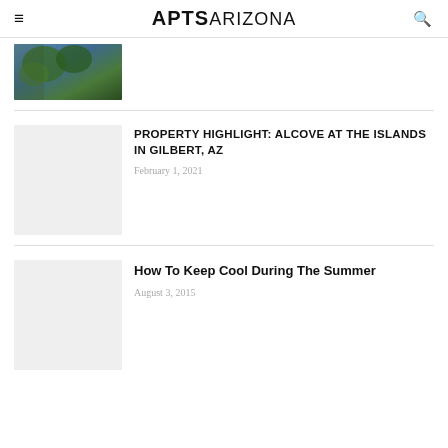APTSARIZONA
[Figure (photo): Partial photo showing trees or foliage with blue sky]
PROPERTY HIGHLIGHT: ALCOVE AT THE ISLANDS IN GILBERT, AZ
February 1, 2021
[Figure (photo): Gray placeholder image]
How To Keep Cool During The Summer
August 3, 2015
[Figure (photo): Gray placeholder image]